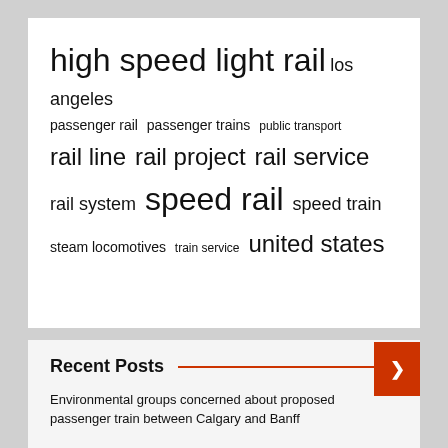[Figure (infographic): Tag cloud with rail/transport related terms in varying font sizes: high speed light rail (largest), los angeles, passenger rail, passenger trains, public transport, rail line, rail project, rail service, rail system, speed rail (large), speed train, steam locomotives, train service, united states]
Recent Posts
Environmental groups concerned about proposed passenger train between Calgary and Banff
Woman killed by Seattle light rail tripped and fell, police say
Environmental groups concerned about proposed passenger train